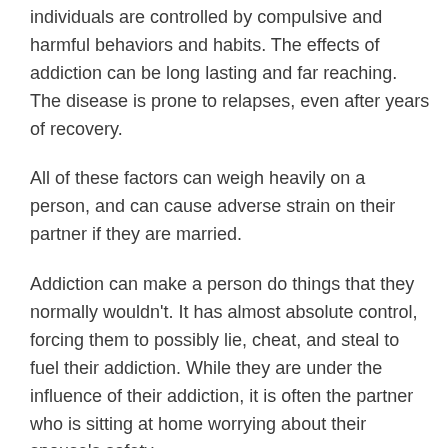individuals are controlled by compulsive and harmful behaviors and habits. The effects of addiction can be long lasting and far reaching. The disease is prone to relapses, even after years of recovery.
All of these factors can weigh heavily on a person, and can cause adverse strain on their partner if they are married.
Addiction can make a person do things that they normally wouldn't. It has almost absolute control, forcing them to possibly lie, cheat, and steal to fuel their addiction. While they are under the influence of their addiction, it is often the partner who is sitting at home worrying about their spouse's safety.
You are legally bound to them, and their behaviors affect you more so than anybody. The addict's health can be heavily impacted by their addiction, which may force you